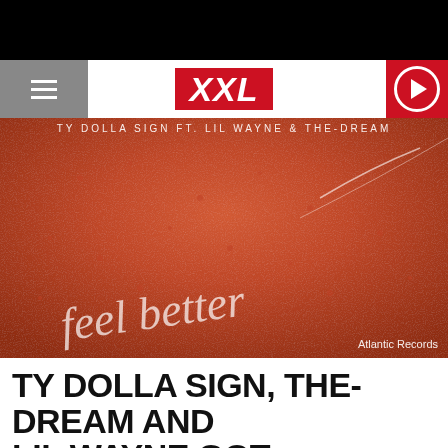XXL
[Figure (photo): Close-up photo of skin with cursive text tattoo or writing 'feel better' in white, reddish-orange toned image. Text overlay: TY DOLLA SIGN FT. LIL WAYNE & THE-DREAM. Credit: Atlantic Records.]
Atlantic Records
TY DOLLA SIGN, THE-DREAM AND LIL WAYNE GOT THEMSELVES A